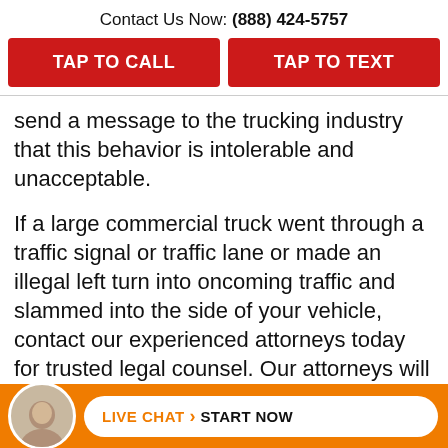Contact Us Now: (888) 424-5757
TAP TO CALL
TAP TO TEXT
send a message to the trucking industry that this behavior is intolerable and unacceptable.

If a large commercial truck went through a traffic signal or traffic lane or made an illegal left turn into oncoming traffic and slammed into the side of your vehicle, contact our experienced attorneys today for trusted legal counsel. Our attorneys will discuss your legal options during a free consultation on how to file and resolve a stoplight truck accident clai...
LIVE CHAT › START NOW